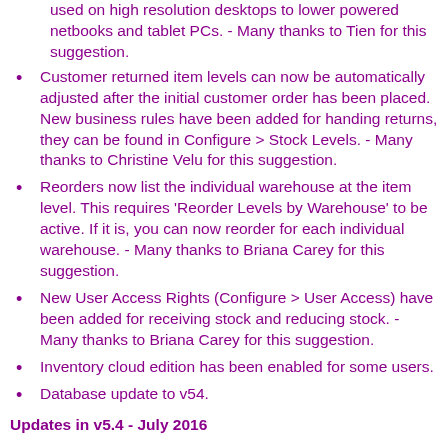used on high resolution desktops to lower powered netbooks and tablet PCs. - Many thanks to Tien for this suggestion.
Customer returned item levels can now be automatically adjusted after the initial customer order has been placed. New business rules have been added for handing returns, they can be found in Configure > Stock Levels. - Many thanks to Christine Velu for this suggestion.
Reorders now list the individual warehouse at the item level. This requires 'Reorder Levels by Warehouse' to be active. If it is, you can now reorder for each individual warehouse. - Many thanks to Briana Carey for this suggestion.
New User Access Rights (Configure > User Access) have been added for receiving stock and reducing stock. - Many thanks to Briana Carey for this suggestion.
Inventory cloud edition has been enabled for some users.
Database update to v54.
Updates in v5.4 - July 2016